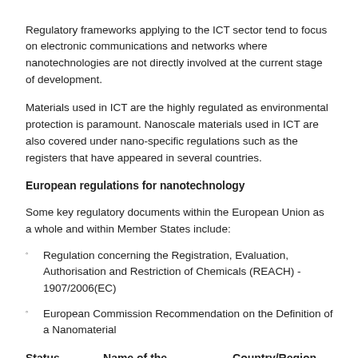Regulatory frameworks applying to the ICT sector tend to focus on electronic communications and networks where nanotechnologies are not directly involved at the current stage of development.
Materials used in ICT are the highly regulated as environmental protection is paramount. Nanoscale materials used in ICT are also covered under nano-specific regulations such as the registers that have appeared in several countries.
European regulations for nanotechnology
Some key regulatory documents within the European Union as a whole and within Member States include:
Regulation concerning the Registration, Evaluation, Authorisation and Restriction of Chemicals (REACH) - 1907/2006(EC)
European Commission Recommendation on the Definition of a Nanomaterial
| Status | Name of the document | Country/Region Scope |
| --- | --- | --- |
|  | Regulation |  |